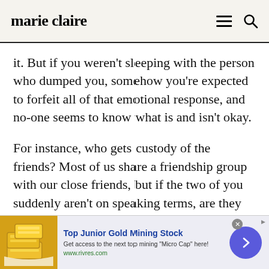marie claire
it. But if you weren't sleeping with the person who dumped you, somehow you're expected to forfeit all of that emotional response, and no-one seems to know what is and isn't okay.
For instance, who gets custody of the friends? Most of us share a friendship group with our close friends, but if the two of you suddenly aren't on speaking terms, are they supposed to
[Figure (screenshot): Advertisement banner for Top Junior Gold Mining Stock showing gold bars image, ad text, and arrow button]